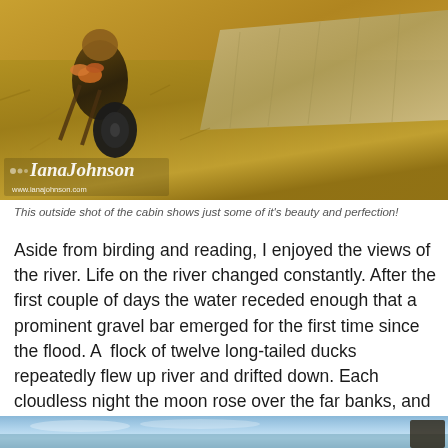[Figure (photo): Outdoor aerial/elevated shot of a cabin area showing a person with a wheelbarrow on dry grass terrain with a wooden deck/platform visible, photographed by Iana Johnson (www.ianajohnson.com)]
This outside shot of the cabin shows just some of it's beauty and perfection!
Aside from birding and reading, I enjoyed the views of the river. Life on the river changed constantly. After the first couple of days the water receded enough that a prominent gravel bar emerged for the first time since the flood. A flock of twelve long-tailed ducks repeatedly flew up river and drifted down. Each cloudless night the moon rose over the far banks, and the low light of a mid-night sun lit up the bluffs across the river in orange and gold. Life was good on the banks of the Porcupine.
[Figure (photo): Partial view of a river or lake scene with blue sky and water, with a dark figure/structure visible at the right edge]